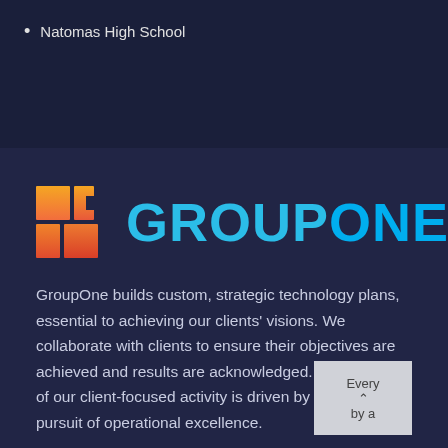Natomas High School
[Figure (logo): GroupOne logo: colored block icon (orange/red gradient squares) with 'GROUPONE' text in cyan/teal]
GroupOne builds custom, strategic technology plans, essential to achieving our clients' visions. We collaborate with clients to ensure their objectives are achieved and results are acknowledged. Every aspect of our client-focused activity is driven by a relentless pursuit of operational excellence.